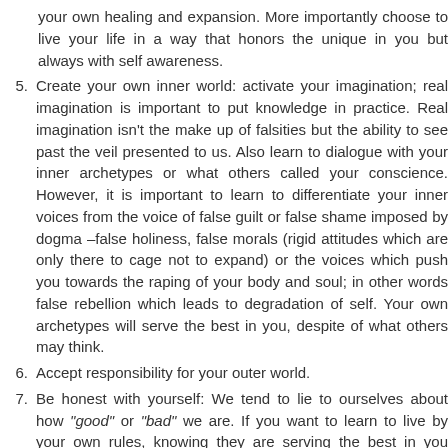(continuation) your responsibility or not to do the work required to your own healing and expansion. More importantly choose to live your life in a way that honors the unique in you but always with self awareness.
5. Create your own inner world: activate your imagination; real imagination is important to put knowledge in practice. Real imagination isn't the make up of falsities but the ability to see past the veil presented to us. Also learn to dialogue with your inner archetypes or what others called your conscience. However, it is important to learn to differentiate your inner voices from the voice of false guilt or false shame imposed by dogma –false holiness, false morals (rigid attitudes which are only there to cage not to expand) or the voices which push you towards the raping of your body and soul; in other words false rebellion which leads to degradation of self. Your own archetypes will serve the best in you, despite of what others may think.
6. Accept responsibility for your outer world.
7. Be honest with yourself: We tend to lie to ourselves about how "good" or "bad" we are. If you want to learn to live by your own rules, knowing they are serving the best in you despite what others may think, the only way is to face, confront, embrace your shadow. Dance with